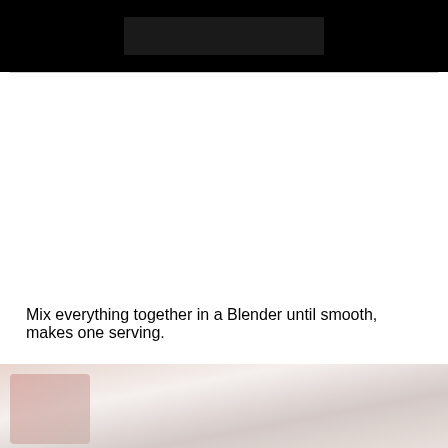[Figure (photo): Dark/black background photo, partially cropped at top of page]
Mix everything together in a Blender until smooth, makes one serving.
[Figure (photo): Blurred food/drink photo, soft pink and white tones, partially cropped at bottom of page]